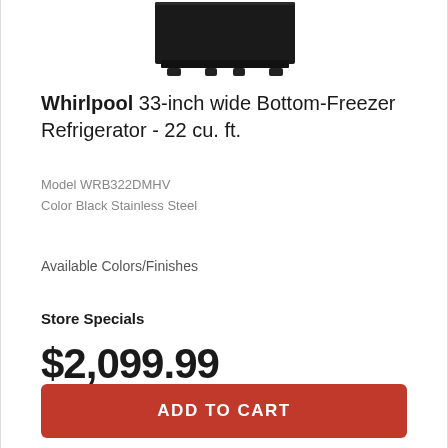[Figure (photo): Bottom portion of a Whirlpool Bottom-Freezer Refrigerator in Black Stainless Steel finish, showing the lower part of the appliance against a white background.]
Whirlpool 33-inch wide Bottom-Freezer Refrigerator - 22 cu. ft.
Model WRB322DMHV
Color Black Stainless Steel
Available Colors/Finishes
Store Specials
$2,099.99
ADD TO CART